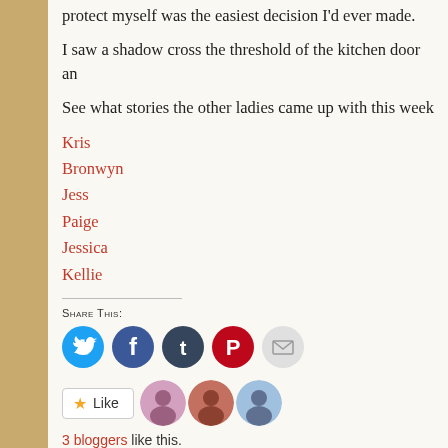protect myself was the easiest decision I'd ever made.
I saw a shadow cross the threshold of the kitchen door an
See what stories the other ladies came up with this week
Kris
Bronwyn
Jess
Paige
Jessica
Kellie
Share this:
[Figure (infographic): Social share buttons: Twitter (blue circle), Facebook (dark blue circle), Tumblr (dark navy circle), Pinterest (red circle), Email (light gray circle)]
3 bloggers like this.
Filed under Bronwyn Green, Jess Jarman, Jessica De La Rosa, Ke Prince, Promptly Penned | 4 Comments